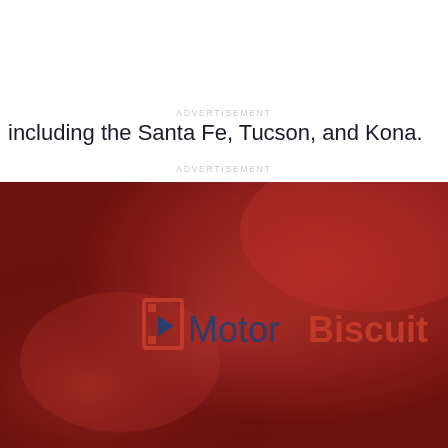including the Santa Fe, Tucson, and Kona.
ADVERTISEMENT
ADVERTISEMENT
[Figure (logo): MotorBiscuit logo on a deep red/crimson blurred background. The logo shows a red bracket/film-strip icon followed by 'Motor' in dark navy and 'Biscuit' in bold red text.]